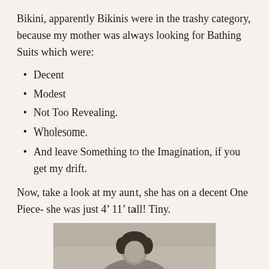Bikini, apparently Bikinis were in the trashy category, because my mother was always looking for Bathing Suits which were:
Decent
Modest
Not Too Revealing.
Wholesome.
And leave Something to the Imagination, if you get my drift.
Now, take a look at my aunt, she has on a decent One Piece- she was just 4’ 11’ tall! Tiny.
[Figure (photo): Black and white photograph of a woman, cropped showing her head and upper body, partially visible at bottom of page.]